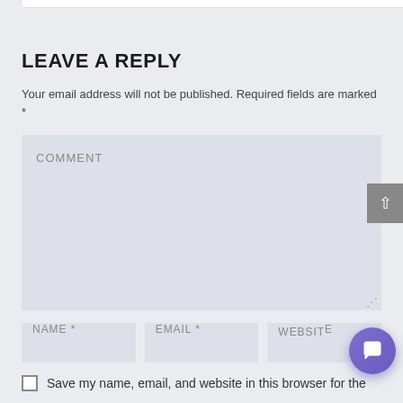LEAVE A REPLY
Your email address will not be published. Required fields are marked *
COMMENT
NAME *
EMAIL *
WEBSITE
Save my name, email, and website in this browser for the